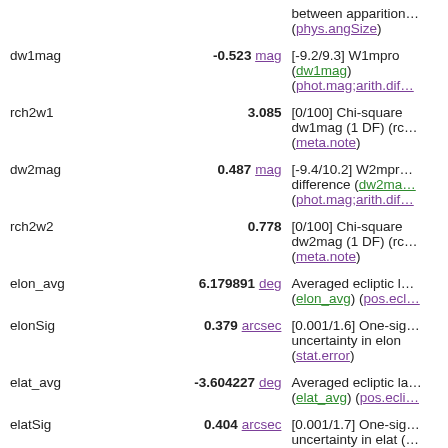| Name | Value | Description |
| --- | --- | --- |
|  |  | between apparition… (phys.angSize) |
| dw1mag | -0.523 mag | [-9.2/9.3] W1mpro… (dw1mag) (phot.mag;arith.dif… |
| rch2w1 | 3.085 | [0/100] Chi-square dw1mag (1 DF) (rc… (meta.note) |
| dw2mag | 0.487 mag | [-9.4/10.2] W2mpr… difference (dw2ma… (phot.mag;arith.dif… |
| rch2w2 | 0.778 | [0/100] Chi-square dw2mag (1 DF) (rc… (meta.note) |
| elon_avg | 6.179891 deg | Averaged ecliptic l… (elon_avg) (pos.ecl… |
| elonSig | 0.379 arcsec | [0.001/1.6] One-sig… uncertainty in elon (stat.error) |
| elat_avg | -3.604227 deg | Averaged ecliptic la… (elat_avg) (pos.ecli… |
| elatSig | 0.404 arcsec | [0.001/1.7] One-sig… uncertainty in elat (stat.error) |